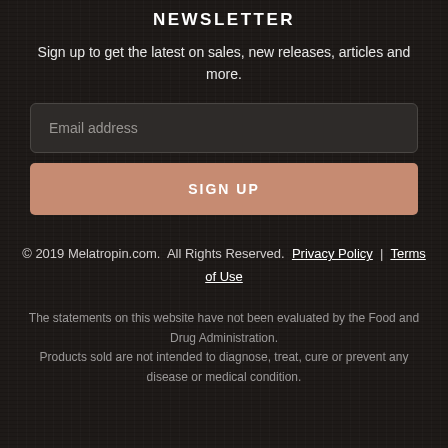NEWSLETTER
Sign up to get the latest on sales, new releases, articles and more.
Email address
SIGN UP
© 2019 Melatropin.com.  All Rights Reserved.  Privacy Policy  |  Terms of Use
The statements on this website have not been evaluated by the Food and Drug Administration. Products sold are not intended to diagnose, treat, cure or prevent any disease or medical condition.